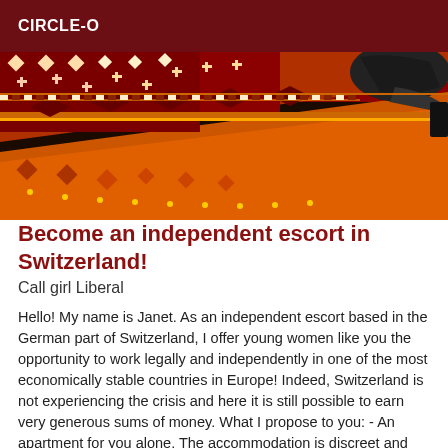CIRCLE-O
[Figure (photo): Close-up of a colorful patterned oriental rug with red, black, orange, and gold geometric designs. A black high-heel shoe is partially visible in the upper right corner.]
Become an independent escort in Switzerland!
Call girl Liberal
Hello! My name is Janet. As an independent escort based in the German part of Switzerland, I offer young women like you the opportunity to work legally and independently in one of the most economically stable countries in Europe! Indeed, Switzerland is not experiencing the crisis and here it is still possible to earn very generous sums of money. What I propose to you: - An apartment for you alone. The accommodation is discreet and fully equipped (internet and television